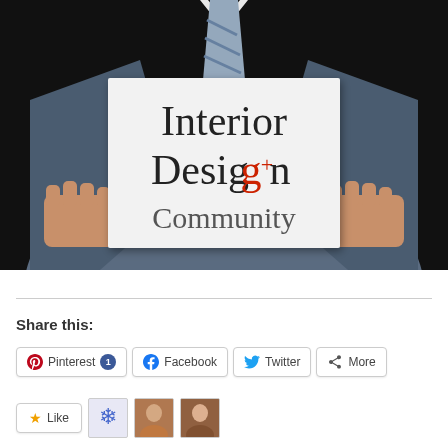[Figure (photo): A man in a business suit holding a white sign that reads 'Interior Design+ Community', with the 'g+' in Google Plus red color. Dark background.]
Share this:
Pinterest 1  Facebook  Twitter  More
Like